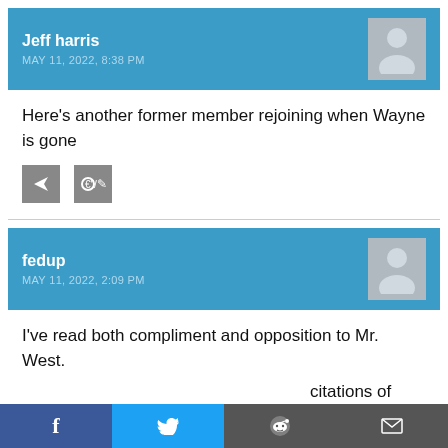Jeff harris
MAY 11, 2022, 8:38 PM
Here's another former member rejoining when Wayne is gone
fedup
MAY 11, 2022, 2:09 PM
I've read both compliment and opposition to Mr. West.
citations of failures while zations.